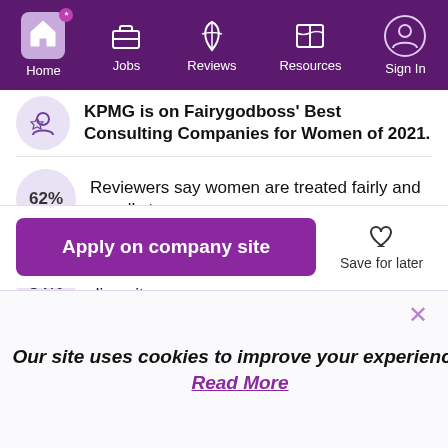Home | Jobs | Reviews | Resources | Sign In
KPMG is on Fairygodboss' Best Consulting Companies for Women of 2021.
62% Reviewers say women are treated fairly and equally to men
84% Reviewers say the CEO supports gender diversity
We help our employees manage their personal lives with
Apply on company site
Save for later
Our site uses cookies to improve your experience. Read More
Got It!